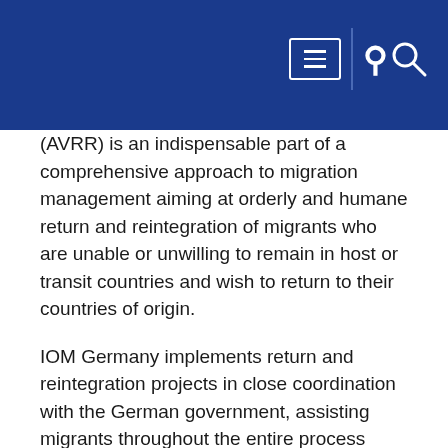(AVRR) is an indispensable part of a comprehensive approach to migration management aiming at orderly and humane return and reintegration of migrants who are unable or unwilling to remain in host or transit countries and wish to return to their countries of origin.
IOM Germany implements return and reintegration projects in close coordination with the German government, assisting migrants throughout the entire process from first information to reintegration based on the following objectives:
Ensure that return and readmission occur in a safe and dignified manner and that migrants are able to make an informed decision and can take ownership of their